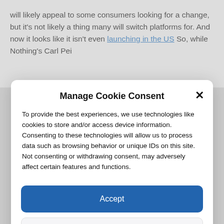will likely appeal to some consumers looking for a change, but it’s not likely a thing many will switch platforms for. And now it looks like it isn’t even launching in the US So, while Nothing’s Carl Pei
Manage Cookie Consent
To provide the best experiences, we use technologies like cookies to store and/or access device information. Consenting to these technologies will allow us to process data such as browsing behavior or unique IDs on this site. Not consenting or withdrawing consent, may adversely affect certain features and functions.
Accept
Deny
View preferences
Cookie Policy